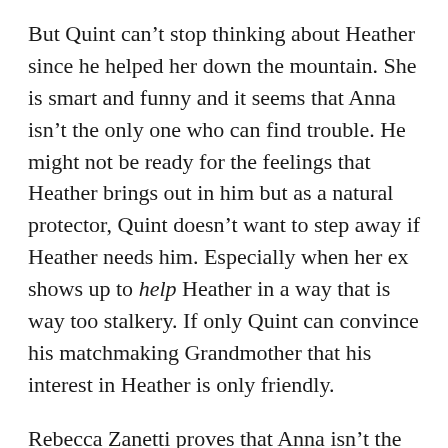But Quint can't stop thinking about Heather since he helped her down the mountain. She is smart and funny and it seems that Anna isn't the only one who can find trouble. He might not be ready for the feelings that Heather brings out in him but as a natural protector, Quint doesn't want to step away if Heather needs him. Especially when her ex shows up to help Heather in a way that is way too stalkery. If only Quint can convince his matchmaking Grandmother that his interest in Heather is only friendly.
Rebecca Zanetti proves that Anna isn't the only interesting Albertini in town. Of course we have already been waiting for more stories including her sisters Donna and Tessa. Holiday Rescue gives us a chance to get to know the Albertini cousins and